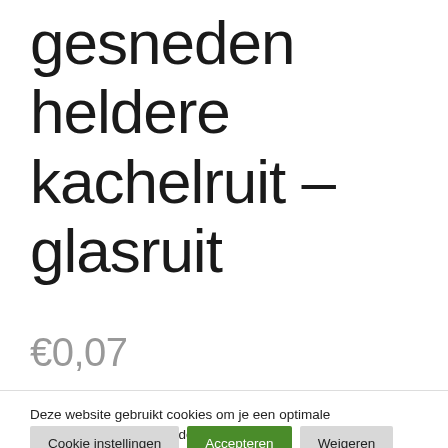gesneden heldere kachelruit – glasruit
€0,07
Deze website gebruikt cookies om je een optimale gebruikerservaring te bieden.
Cookie instellingen | Accepteren | Weigeren